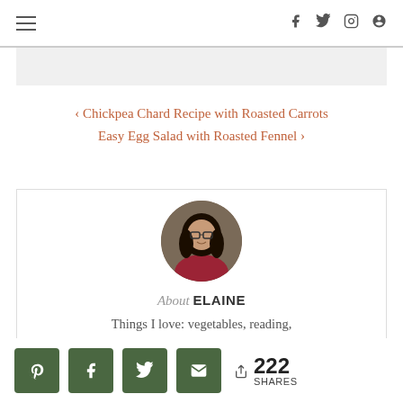Navigation menu and social icons (Facebook, Twitter, Instagram, Pinterest)
Chickpea Chard Recipe with Roasted Carrots
Easy Egg Salad with Roasted Fennel
[Figure (photo): Circular profile photo of Elaine, a woman with dark hair and glasses, wearing a red top, photographed outdoors.]
About ELAINE
Things I love: vegetables, reading, swing dancing, rock climbing, and my
Share buttons: Pinterest, Facebook, Twitter, Email. 222 SHARES